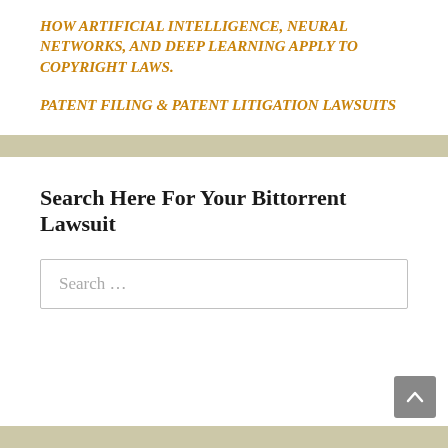HOW ARTIFICIAL INTELLIGENCE, NEURAL NETWORKS, AND DEEP LEARNING APPLY TO COPYRIGHT LAWS.
PATENT FILING & PATENT LITIGATION LAWSUITS
Search Here For Your Bittorrent Lawsuit
Search …